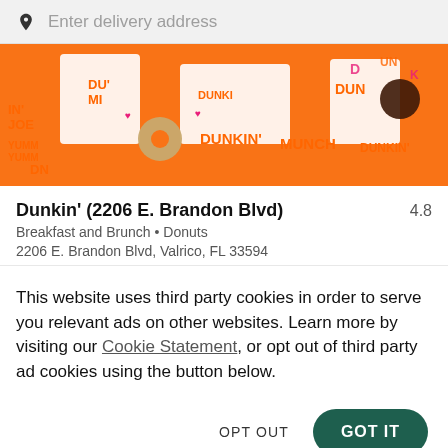Enter delivery address
[Figure (photo): Dunkin' restaurant promotional banner showing donuts, coffee cups, and branded packaging on an orange background with text: IN' JOE, YUMM YUMM, DN, DU' MI, DUNKI, DUNKIN', MUNCH, DUNKIN', DUN]
Dunkin' (2206 E. Brandon Blvd)
4.8
Breakfast and Brunch • Donuts
2206 E. Brandon Blvd, Valrico, FL 33594
This website uses third party cookies in order to serve you relevant ads on other websites. Learn more by visiting our Cookie Statement, or opt out of third party ad cookies using the button below.
OPT OUT
GOT IT